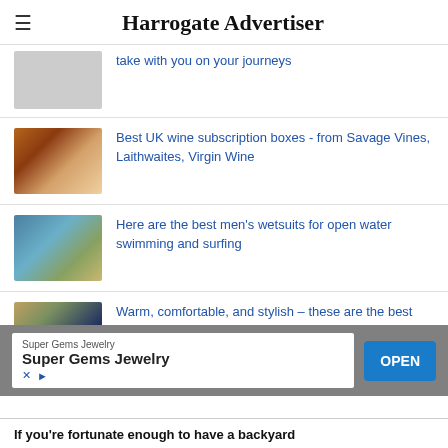Harrogate Advertiser
take with you on your journeys
Best UK wine subscription boxes - from Savage Vines, Laithwaites, Virgin Wine
Here are the best men's wetsuits for open water swimming and surfing
Warm, comfortable, and stylish – these are the best women's wetsuits around
[Figure (infographic): Advertisement banner for Super Gems Jewelry with an OPEN button]
If you're fortunate enough to have a backyard